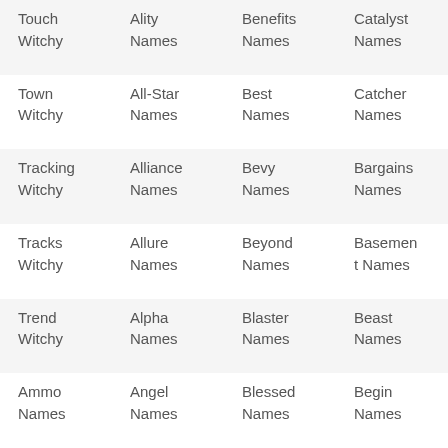| Touch
Witchy | Ality
Names | Benefits
Names | Catalyst
Names |
| Town
Witchy | All-Star
Names | Best
Names | Catcher
Names |
| Tracking
Witchy | Alliance
Names | Bevy
Names | Bargains
Names |
| Tracks
Witchy | Allure
Names | Beyond
Names | Basement
t Names |
| Trend
Witchy | Alpha
Names | Blaster
Names | Beast
Names |
| Ammo
Names | Angel
Names | Blessed
Names | Begin
Names |